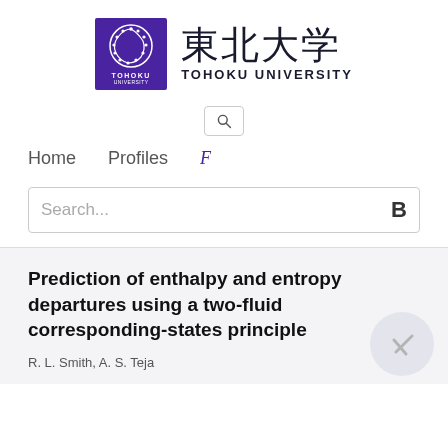[Figure (logo): Tohoku University logo: purple square with white circular emblem, Japanese kanji 東北大学 and TOHOKU UNIVERSITY text]
[Figure (other): Search icon (magnifying glass Q) in a rounded rectangle box]
Home   Profiles   F
Search...   B
Prediction of enthalpy and entropy departures using a two-fluid corresponding-states principle
R. L. Smith, A. S. Teja